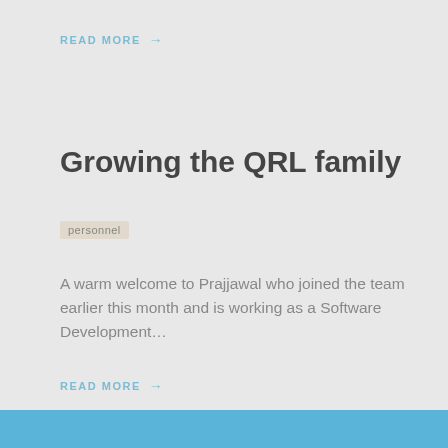READ MORE →
Growing the QRL family
personnel
A warm welcome to Prajjawal who joined the team earlier this month and is working as a Software Development…
READ MORE →